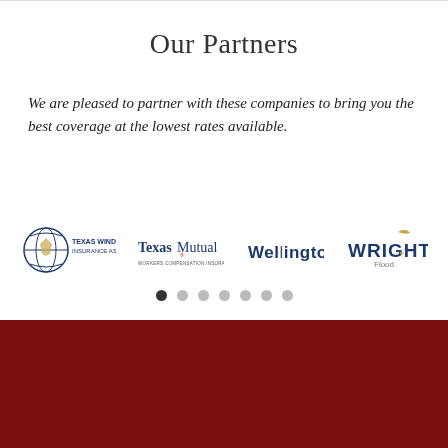Our Partners
We are pleased to partner with these companies to bring you the best coverage at the lowest rates available.
[Figure (logo): Four partner insurance company logos in a row: TWIA (Texas Windstorm Insurance Association), Texas Mutual Workers Compensation Insurance, Wellington, and Wright Flood]
OUR LOCATION